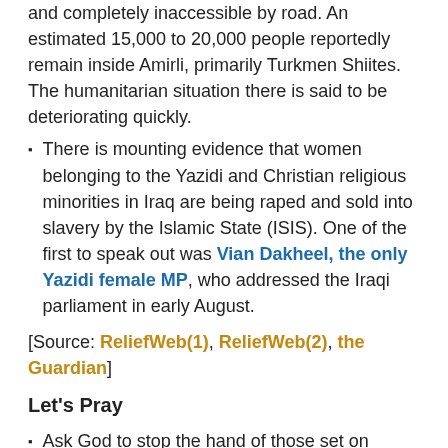and completely inaccessible by road. An estimated 15,000 to 20,000 people reportedly remain inside Amirli, primarily Turkmen Shiites. The humanitarian situation there is said to be deteriorating quickly.
There is mounting evidence that women belonging to the Yazidi and Christian religious minorities in Iraq are being raped and sold into slavery by the Islamic State (ISIS). One of the first to speak out was Vian Dakheel, the only Yazidi female MP, who addressed the Iraqi parliament in early August.
[Source: ReliefWeb(1), ReliefWeb(2), the Guardian]
Let's Pray
Ask God to stop the hand of those set on violence, bloodshed and intimidation in Iraq. Pray for the establishment of a lasting peace that all people groups will be accepted and protected.
Pray for God's protection to the minority ethnic and